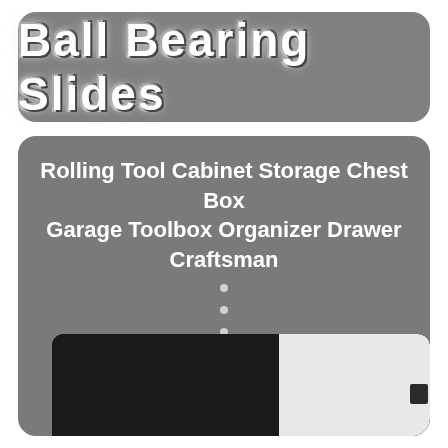Ball Bearing Slides
Rolling Tool Cabinet Storage Chest Box Garage Toolbox Organizer Drawer Craftsman
[Figure (photo): Close-up photo of a ball bearing drawer slide mechanism on a rolling tool cabinet, showing the metal rail, release button, and black drawer body]